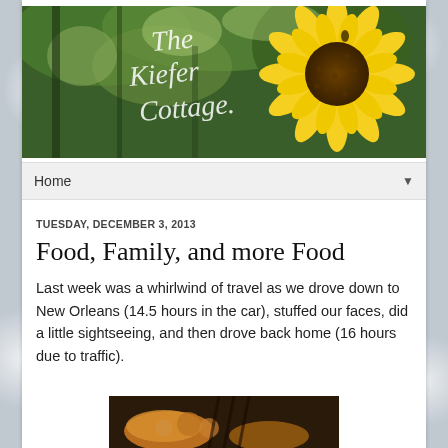[Figure (photo): Blog header banner image showing trees with green foliage and a large yellow sunflower on the right side, with cursive text reading 'The Kiefer Cottage' overlaid on the left side]
Home ▼
TUESDAY, DECEMBER 3, 2013
Food, Family, and more Food
Last week was a whirlwind of travel as we drove down to New Orleans (14.5 hours in the car), stuffed our faces, did a little sightseeing, and then drove back home (16 hours due to traffic).
[Figure (photo): Partial bottom image showing what appears to be food or cooking-related objects, partially visible at the bottom of the page]